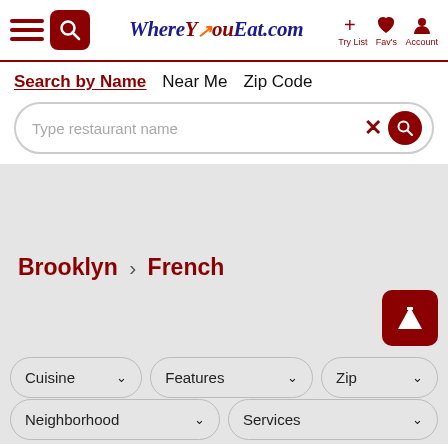[Figure (screenshot): WhereYouEat.com website header with hamburger menu, search icon button, logo, and navigation icons for Try List, Fav's, and Account]
Search by Name   Near Me   Zip Code
Type restaurant name
Brooklyn > French
Cuisine  Features  Zip
Neighborhood  Services